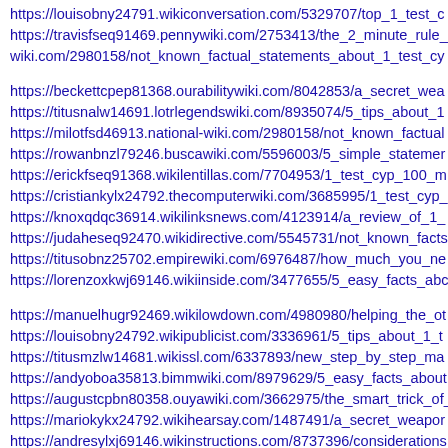https://louisobny24791.wikiconversation.com/5329707/top_1_test_c
https://travisfseq91469.pennywiki.com/2753413/the_2_minute_rule_
wiki.com/2980158/not_known_factual_statements_about_1_test_cy
https://beckettcpep81368.ourabilitywiki.com/8042853/a_secret_wea
https://titusnalw14691.lotrlegendswiki.com/8935074/5_tips_about_1
https://milotfsd46913.national-wiki.com/2980158/not_known_factual
https://rowanbnzl79246.buscawiki.com/5596003/5_simple_statemer
https://erickfseq91368.wikilentillas.com/7704953/1_test_cyp_100_m
https://cristiankylx24792.thecomputerwiki.com/3685995/1_test_cyp_
https://knoxqdqc36914.wikilinksnews.com/4123914/a_review_of_1_
https://judaheseq92470.wikidirective.com/5545731/not_known_facts
https://titusobnz25702.empirewiki.com/6976487/how_much_you_ne
https://lorenzoxkwj69146.wikiinside.com/3477655/5_easy_facts_abc
https://manuelhugr92469.wikilowdown.com/4980980/helping_the_ot
https://louisobny24792.wikipublicist.com/3336961/5_tips_about_1_t
https://titusmzlw14681.wikissl.com/6337893/new_step_by_step_ma
https://andyoboa35813.bimmwiki.com/8979629/5_easy_facts_about
https://augustcpbn80358.ouyawiki.com/3662975/the_smart_trick_of_
https://mariokykx24792.wikihearsay.com/1487491/a_secret_weapor
https://andresylxj69146.wikinstructions.com/8737396/considerations
https://travisfseq91469.pennywiki.com/2753413/the_2_minute_rule_
https://zandercpbn80257.signalwiki.com/3970466/fascination_about
https://daltonsgtf57025.wikijournalist.com/3539440/how_much_you_
I all the time used to study article in news papers but now as I am...